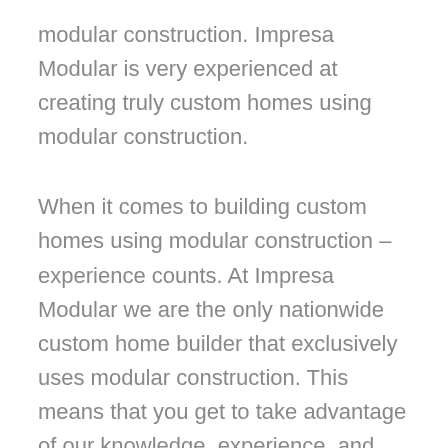modular construction. Impresa Modular is very experienced at creating truly custom homes using modular construction.
When it comes to building custom homes using modular construction – experience counts. At Impresa Modular we are the only nationwide custom home builder that exclusively uses modular construction. This means that you get to take advantage of our knowledge, experience, and understanding when it comes to developing truly unique custom home designs and then building them using modern modular construction. There are many custom home builders out there. What